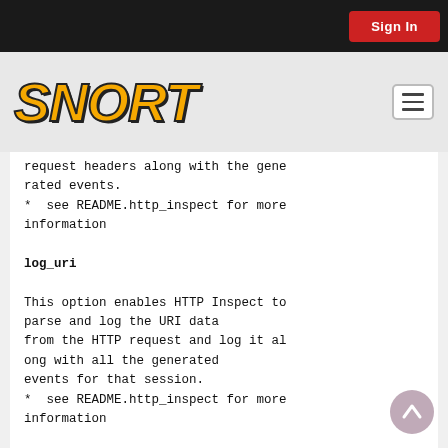Sign In
[Figure (logo): Snort logo - bold yellow italic text on light background with hamburger menu icon]
request headers along with the generated events.
* see README.http_inspect for more information

log_uri

This option enables HTTP Inspect to parse and log the URI data from the HTTP request and log it along with all the generated events for that session.
* see README.http_inspect for more information

log_hostname

This option enables HTTP Inspect to
[Figure (other): Scroll-to-top circular button in bottom right corner]